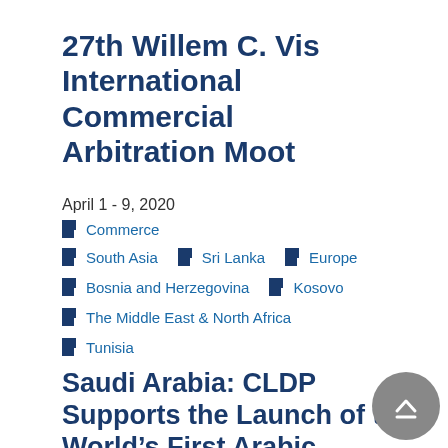27th Willem C. Vis International Commercial Arbitration Moot
April 1 - 9, 2020
Commerce
South Asia  Sri Lanka  Europe
Bosnia and Herzegovina  Kosovo
The Middle East & North Africa
Tunisia
Saudi Arabia: CLDP Supports the Launch of the World's First Arabic Arbitration Moot